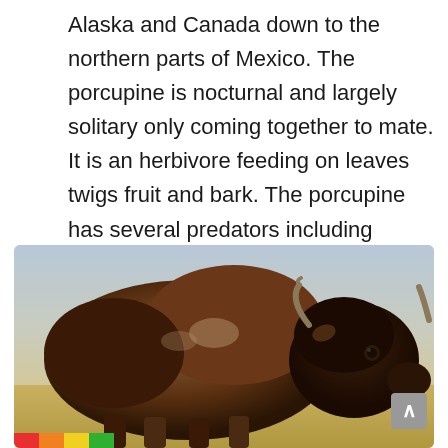Alaska and Canada down to the northern parts of Mexico. The porcupine is nocturnal and largely solitary only coming together to mate. It is an herbivore feeding on leaves twigs fruit and bark. The porcupine has several predators including coyotes foxes owls and eagles.
[Figure (photo): A close-up photograph of a bison (buffalo) with large brown fur body and horns, standing in an open field with a muted sky background in shades of blue-gray and yellow-tan. The bison is viewed from the side-front, showing its massive humped shoulders and large dark head. A small scroll-up button is visible in the bottom-right of the image frame.]